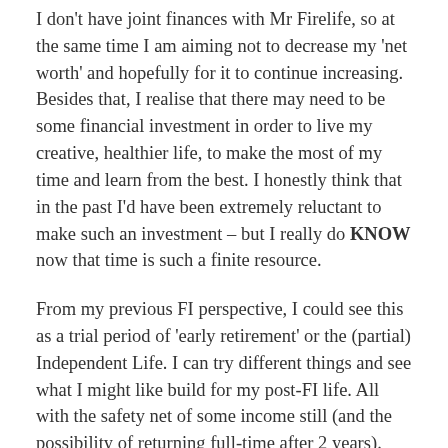I don't have joint finances with Mr Firelife, so at the same time I am aiming not to decrease my 'net worth' and hopefully for it to continue increasing. Besides that, I realise that there may need to be some financial investment in order to live my creative, healthier life, to make the most of my time and learn from the best. I honestly think that in the past I'd have been extremely reluctant to make such an investment – but I really do KNOW now that time is such a finite resource.
From my previous FI perspective, I could see this as a trial period of 'early retirement' or the (partial) Independent Life. I can try different things and see what I might like build for my post-FI life. All with the safety net of some income still (and the possibility of returning full-time after 2 years).
From a perspective of where I'm sat now (well, I'm in a